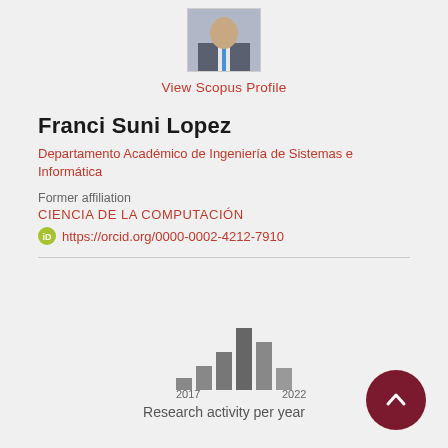[Figure (photo): Partial profile photo of a man in a suit with a blue tie]
View Scopus Profile
Franci Suni Lopez
Departamento Académico de Ingeniería de Sistemas e Informática
Former affiliation
CIENCIA DE LA COMPUTACIÓN
https://orcid.org/0000-0002-4212-7910
[Figure (bar-chart): Research activity per year]
Research activity per year